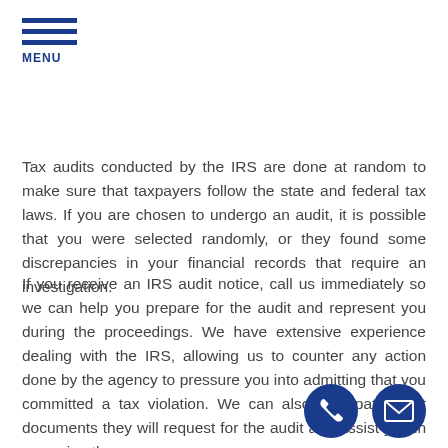[Figure (other): Hamburger menu icon with three blue horizontal bars and MENU label below]
Tax audits conducted by the IRS are done at random to make sure that taxpayers follow the state and federal tax laws. If you are chosen to undergo an audit, it is possible that you were selected randomly, or they found some discrepancies in your financial records that require an investigation.
If you receive an IRS audit notice, call us immediately so we can help you prepare for the audit and represent you during the proceedings. We have extensive experience dealing with the IRS, allowing us to counter any action done by the agency to pressure you into admitting that you committed a tax violation. We can also anticipate what documents they will request for the audit and assist you in preparing them.
[Figure (other): Two circular dark blue contact icons: a phone icon and an email/envelope icon]